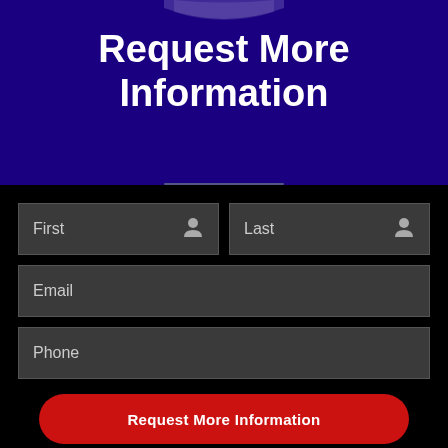Request More Information
[Figure (infographic): Web form with fields for First name, Last name, Email, and Phone, with a consent disclaimer and a red Request More Information button]
By opting into this form you are giving consent for Workhorse Gym to send periodic SMS text messages. Standard Rates Apply. Opt-out anytime by replying STOP